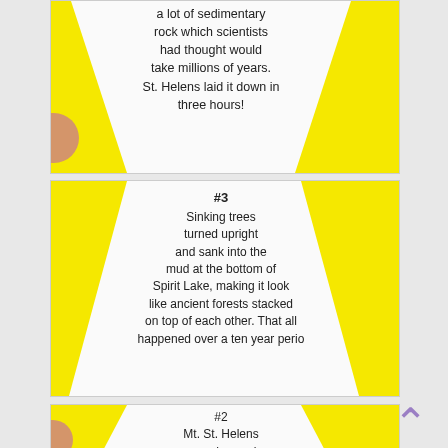[Figure (photo): Photo of a handwritten note on white paper over yellow background. Text reads: 'a lot of sedimentary rock which scientists had thought would take millions of years. St. Helens laid it down in three hours!']
[Figure (photo): Photo of a handwritten note on white paper over yellow background. Text reads: '#3 Sinking trees turned upright and sank into the mud at the bottom of Spirit Lake, making it look like ancient forests stacked on top of each other. That all happened over a ten year perio[d]']
[Figure (photo): Photo of a handwritten note on white paper over yellow background. Text reads: '#2 Mt. St. Helens was changed...']